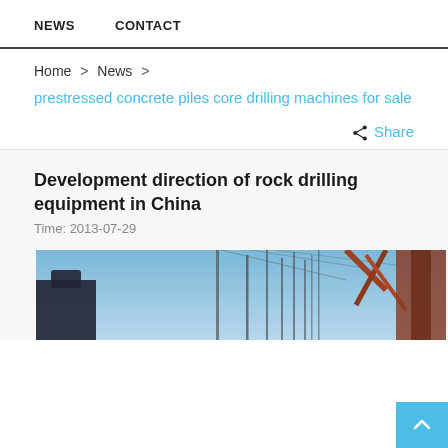NEWS   CONTACT
Home > News > prestressed concrete piles core drilling machines for sale
Share
Development direction of rock drilling equipment in China
Time: 2013-07-29
[Figure (photo): Construction site with cranes and drilling equipment against a blue sky, worker in hard hat visible on the left.]